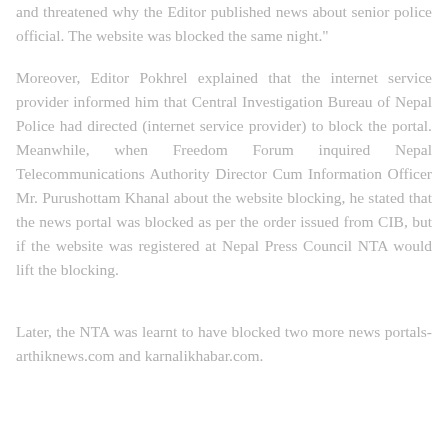and threatened why the Editor published news about senior police official. The website was blocked the same night."
Moreover, Editor Pokhrel explained that the internet service provider informed him that Central Investigation Bureau of Nepal Police had directed (internet service provider) to block the portal. Meanwhile, when Freedom Forum inquired Nepal Telecommunications Authority Director Cum Information Officer Mr. Purushottam Khanal about the website blocking, he stated that the news portal was blocked as per the order issued from CIB, but if the website was registered at Nepal Press Council NTA would lift the blocking.
Later, the NTA was learnt to have blocked two more news portals- arthiknews.com and karnalikhabar.com.